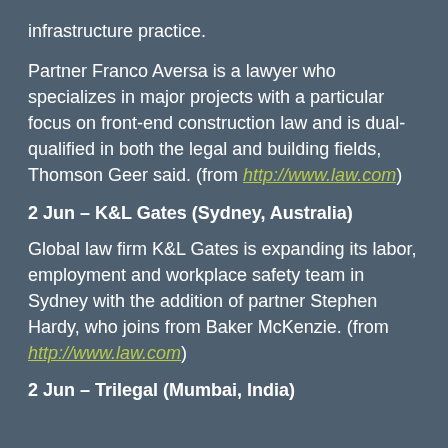infrastructure practice.
Partner Franco Aversa is a lawyer who specializes in major projects with a particular focus on front-end construction law and is dual-qualified in both the legal and building fields, Thomson Geer said. (from http://www.law.com)
2 Jun – K&L Gates (Sydney, Australia)
Global law firm K&L Gates is expanding its labor, employment and workplace safety team in Sydney with the addition of partner Stephen Hardy, who joins from Baker McKenzie. (from http://www.law.com)
2 Jun – Trilegal (Mumbai, India)